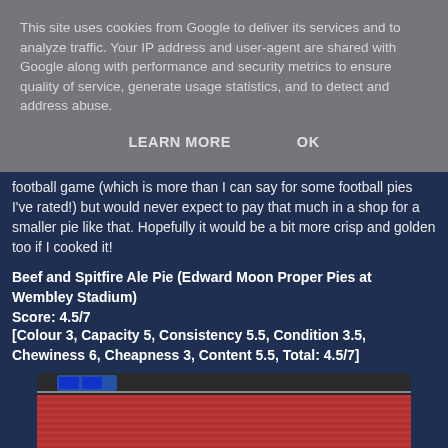This site uses cookies from Google to deliver its services and to analyze traffic. Your IP address and user-agent are shared with Google along with performance and security metrics to ensure quality of service, generate usage statistics, and to detect and address abuse.
LEARN MORE    OK
football game (which is more than I can say for some football pies I've rated!) but would never expect to pay that much in a shop for a smaller pie like that. Hopefully it would be a bit more crisp and golden too if I cooked it!
Beef and Spitfire Ale Pie (Edward Moon Proper Pies at Wembley Stadium)
Score: 4.5/7
[Colour 3, Capacity 5, Consistency 5.5, Condition 3.5, Chewiness 6, Cheapness 3, Content 5.5, Total: 4.5/7]
[Figure (photo): Photo of Wembley Stadium interior showing red stadium seats and scoreboard]